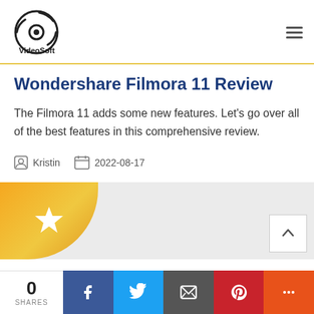VideoSoft
Wondershare Filmora 11 Review
The Filmora 11 adds some new features. Let's go over all of the best features in this comprehensive review.
Kristin   2022-08-17
[Figure (other): Rating badge with a gold star icon on an orange/yellow gradient rounded shape, with a grey content area and a scroll-to-top button]
0 SHARES | Facebook | Twitter | Email | Pinterest | More